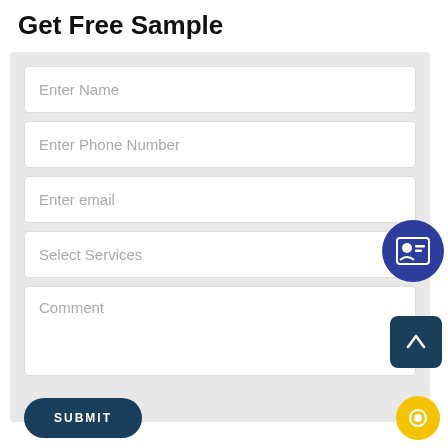Get Free Sample
[Figure (screenshot): Web form UI with input fields: Enter Name, Enter Phone Number, Enter email, Select Services (dropdown), Comment textarea, and a SUBMIT button. Also shows a contact card icon (blue circle), an up-arrow button (dark blue rounded square), and a chat icon (yellow circle).]